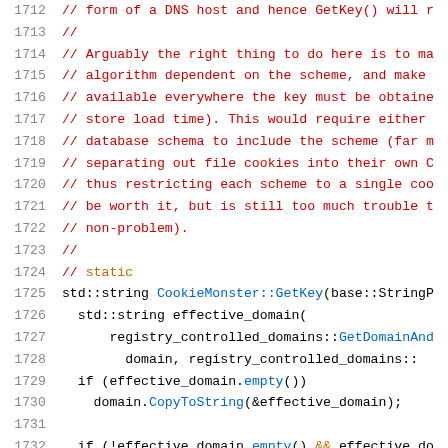Source code listing, lines 1712-1733, showing CookieMonster::GetKey implementation with comments about DNS host form and key algorithm
[Figure (screenshot): C++ source code editor view showing lines 1712-1733 with syntax highlighting. Comment lines in red, code keywords in black, function names in blue, operators in orange.]